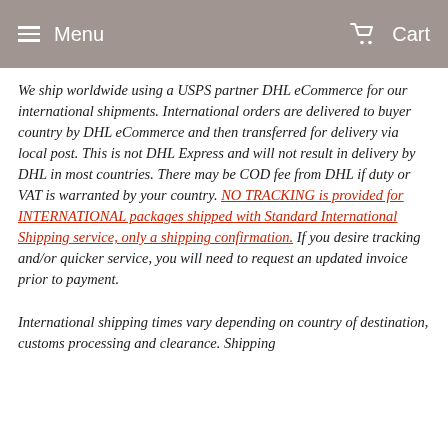Menu   Cart
We ship worldwide using a USPS partner DHL eCommerce for our international shipments. International orders are delivered to buyer country by DHL eCommerce and then transferred for delivery via local post. This is not DHL Express and will not result in delivery by DHL in most countries. There may be COD fee from DHL if duty or VAT is warranted by your country. NO TRACKING is provided for INTERNATIONAL packages shipped with Standard International Shipping service, only a shipping confirmation. If you desire tracking and/or quicker service, you will need to request an updated invoice prior to payment.
International shipping times vary depending on country of destination, customs processing and clearance. Shipping